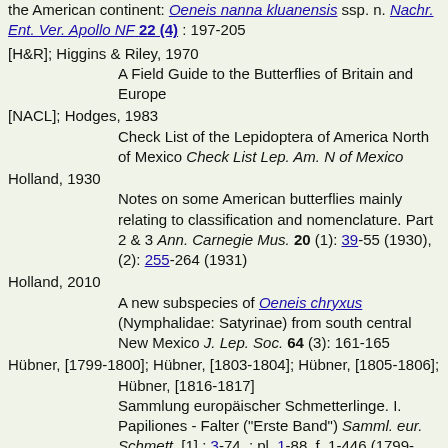the American continent: Oeneis nanna kluanensis ssp. n. Nachr. Ent. Ver. Apollo NF 22 (4) : 197-205
[H&R]; Higgins & Riley, 1970
    A Field Guide to the Butterflies of Britain and Europe
[NACL]; Hodges, 1983
    Check List of the Lepidoptera of America North of Mexico Check List Lep. Am. N of Mexico
Holland, 1930
    Notes on some American butterflies mainly relating to classification and nomenclature. Part 2 & 3 Ann. Carnegie Mus. 20 (1): 39-55 (1930), (2): 255-264 (1931)
Holland, 2010
    A new subspecies of Oeneis chryxus (Nymphalidae: Satyrinae) from south central New Mexico J. Lep. Soc. 64 (3): 161-165
Hübner, [1799-1800]; Hübner, [1803-1804]; Hübner, [1805-1806]; Hübner, [1816-1817]
    Sammlung europäischer Schmetterlinge. I. Papiliones - Falter ("Erste Band") Samml. eur. Schmett. [1] : 3-74, : pl. 1-88, f. 1-446 (1799-1800), : pl. 89-96, f. 447-490 (1800-1803), : pl. 97-114, f. 491-588 (1803-1804), : pl. 115-119, f.